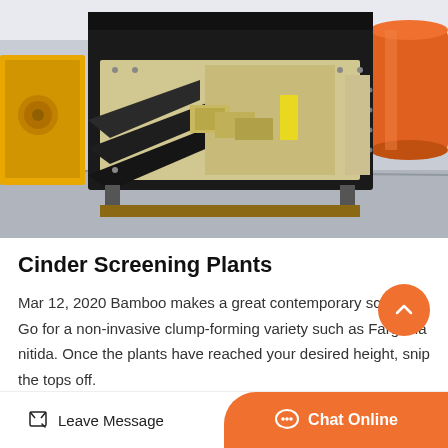[Figure (photo): Industrial cinder screening plant machinery photographed in a warehouse. Large black metal screening/vibrating machine with stepped screening decks visible. Yellow industrial equipment visible on the left, orange cylindrical component on the right. Concrete floor visible.]
Cinder Screening Plants
Mar 12, 2020 Bamboo makes a great contemporary screen. Go for a non-invasive clump-forming variety such as Fargesia nitida. Once the plants have reached your desired height, snip the tops off.
Leave Message
Chat Online